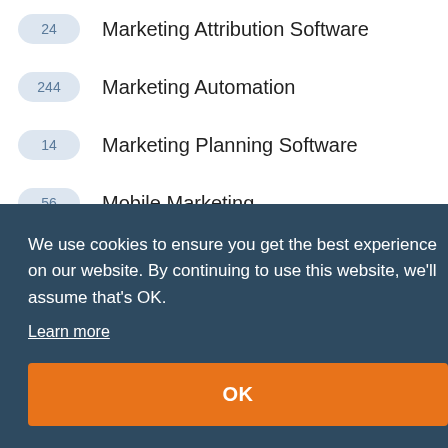24 Marketing Attribution Software
244 Marketing Automation
14 Marketing Planning Software
56 Mobile Marketing
26 Multi-Level Marketing Software (MLM)
We use cookies to ensure you get the best experience on our website. By continuing to use this website, we'll assume that's OK.
Learn more
OK